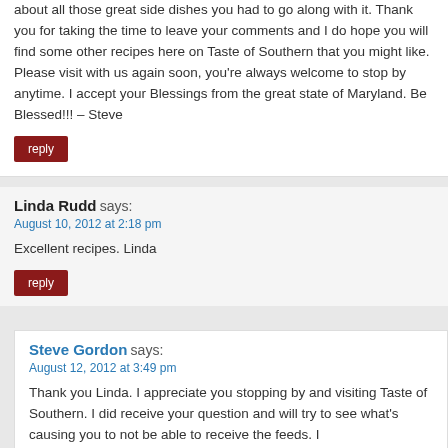about all those great side dishes you had to go along with it. Thank you for taking the time to leave your comments and I do hope you will find some other recipes here on Taste of Southern that you might like. Please visit with us again soon, you're always welcome to stop by anytime. I accept your Blessings from the great state of Maryland. Be Blessed!!! – Steve
reply
Linda Rudd says:
August 10, 2012 at 2:18 pm
Excellent recipes. Linda
reply
Steve Gordon says:
August 12, 2012 at 3:49 pm
Thank you Linda. I appreciate you stopping by and visiting Taste of Southern. I did receive your question and will try to see what's causing you to not be able to receive the feeds. I